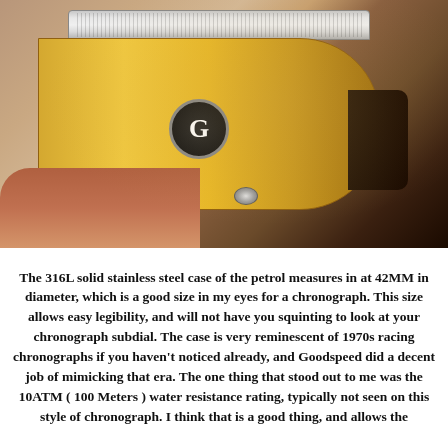[Figure (photo): Close-up photo of a watch being held, showing the side profile with a knurled crown/bezel at top, gold-toned case with a black circular 'G' logo button/pusher in the center, two additional pushers/crown buttons, and a dark leather strap on the right. The watch appears to be a chronograph with visible pushers.]
The 316L solid stainless steel case of the petrol measures in at 42MM in diameter, which is a good size in my eyes for a chronograph. This size allows easy legibility, and will not have you squinting to look at your chronograph subdial. The case is very reminescent of 1970s racing chronographs if you haven't noticed already, and Goodspeed did a decent job of mimicking that era. The one thing that stood out to me was the 10ATM ( 100 Meters ) water resistance rating, typically not seen on this style of chronograph. I think that is a good thing, and allows the